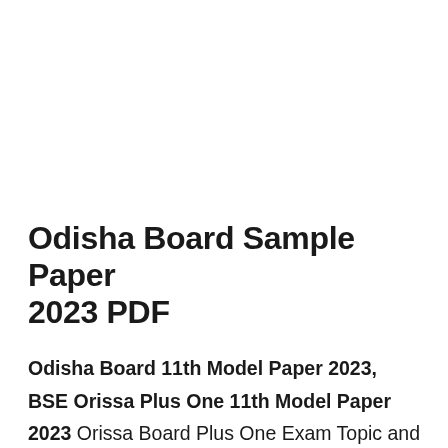Odisha Board Sample Paper 2023 PDF
Odisha Board 11th Model Paper 2023, BSE Orissa Plus One 11th Model Paper 2023 Orissa Board Plus One Exam Topic and Section wise Question Pattern BSE Board